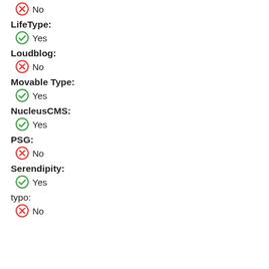No
LifeType:
Yes
Loudblog:
No
Movable Type:
Yes
NucleusCMS:
Yes
PSG:
No
Serendipity:
Yes
typo:
No